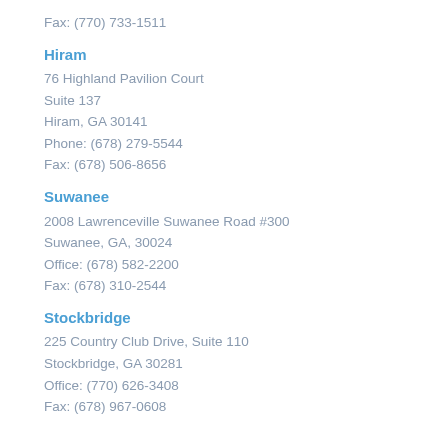Fax: (770) 733-1511
Hiram
76 Highland Pavilion Court
Suite 137
Hiram, GA 30141
Phone: (678) 279-5544
Fax: (678) 506-8656
Suwanee
2008 Lawrenceville Suwanee Road #300
Suwanee, GA, 30024
Office: (678) 582-2200
Fax: (678) 310-2544
Stockbridge
225 Country Club Drive, Suite 110
Stockbridge, GA 30281
Office: (770) 626-3408
Fax: (678) 967-0608